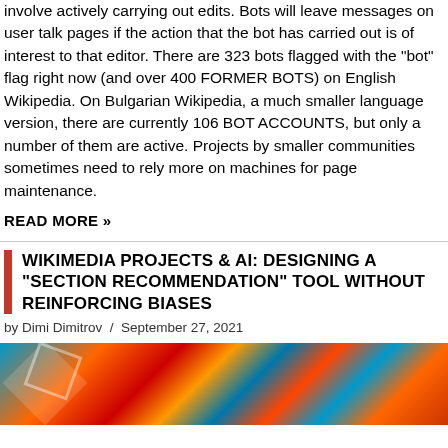involve actively carrying out edits. Bots will leave messages on user talk pages if the action that the bot has carried out is of interest to that editor. There are 323 bots flagged with the "bot" flag right now (and over 400 FORMER BOTS) on English Wikipedia. On Bulgarian Wikipedia, a much smaller language version, there are currently 106 BOT ACCOUNTS, but only a number of them are active. Projects by smaller communities sometimes need to rely more on machines for page maintenance.
READ MORE »
WIKIMEDIA PROJECTS & AI: DESIGNING A "SECTION RECOMMENDATION" TOOL WITHOUT REINFORCING BIASES
by Dimi Dimitrov / September 27, 2021
[Figure (photo): Colorful abstract graffiti-style image with blue, orange, and red tones, partially visible at the bottom of the page]